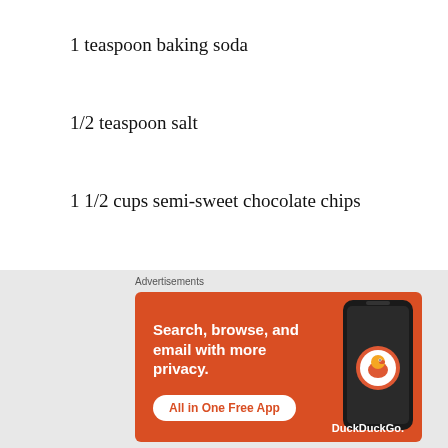1 teaspoon baking soda
1/2 teaspoon salt
1 1/2 cups semi-sweet chocolate chips
1/2 cup (1 stick) unsalted butter, melted and cooled
1 cup sugar
[Figure (screenshot): DuckDuckGo advertisement banner: orange background with text 'Search, browse, and email with more privacy. All in One Free App' and DuckDuckGo logo with duck icon, showing a smartphone mockup.]